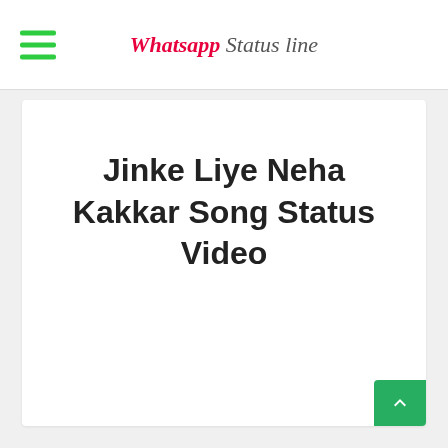Whatsapp Status line
Jinke Liye Neha Kakkar Song Status Video